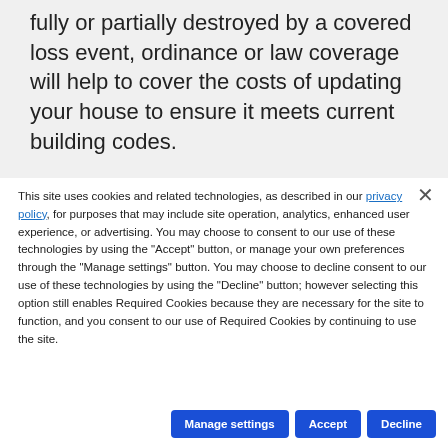fully or partially destroyed by a covered loss event, ordinance or law coverage will help to cover the costs of updating your house to ensure it meets current building codes.
This site uses cookies and related technologies, as described in our privacy policy, for purposes that may include site operation, analytics, enhanced user experience, or advertising. You may choose to consent to our use of these technologies by using the "Accept" button, or manage your own preferences through the "Manage settings" button. You may choose to decline consent to our use of these technologies by using the "Decline" button; however selecting this option still enables Required Cookies because they are necessary for the site to function, and you consent to our use of Required Cookies by continuing to use the site.